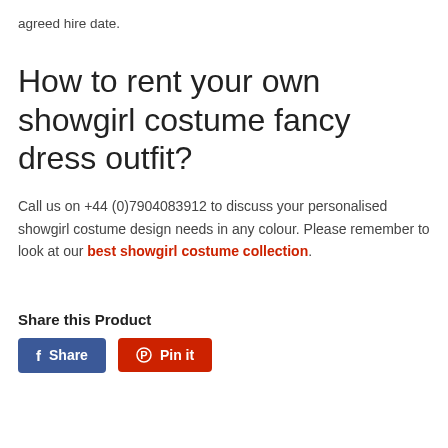agreed hire date.
How to rent your own showgirl costume fancy dress outfit?
Call us on +44 (0)7904083912 to discuss your personalised showgirl costume design needs in any colour. Please remember to look at our best showgirl costume collection.
Share this Product
[Figure (other): Facebook Share button and Pinterest Pin it button]